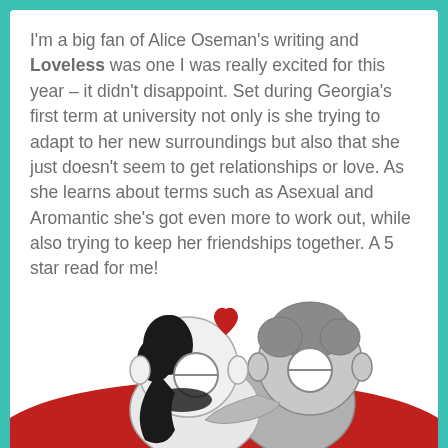I'm a big fan of Alice Oseman's writing and Loveless was one I was really excited for this year – it didn't disappoint. Set during Georgia's first term at university not only is she trying to adapt to her new surroundings but also that she just doesn't seem to get relationships or love. As she learns about terms such as Asexual and Aromantic she's got even more to work out, while also trying to keep her friendships together. A 5 star read for me!
[Figure (illustration): Cartoon illustration of two round-headed characters cuddling, one with black hair and round glasses, one grey with round glasses, with a small red heart above them, lying on a red blanket/surface. Style matches Alice Oseman's art from Loveless.]